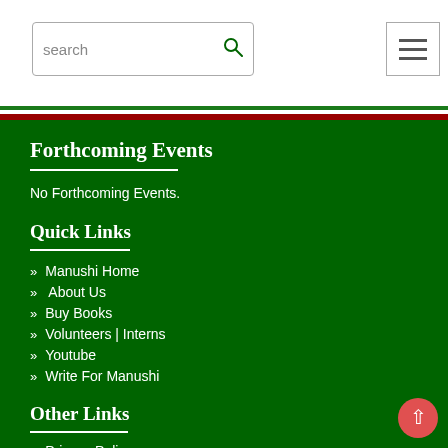search [search icon] [hamburger menu]
Forthcoming Events
No Forthcoming Events.
Quick Links
Manushi Home
About Us
Buy Books
Volunteers | Interns
Youtube
Write For Manushi
Other Links
Privacy Policy